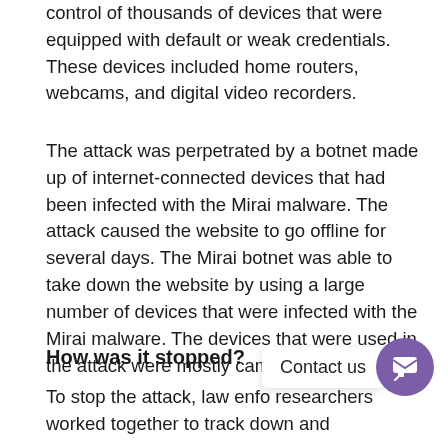control of thousands of devices that were equipped with default or weak credentials. These devices included home routers, webcams, and digital video recorders.
The attack was perpetrated by a botnet made up of internet-connected devices that had been infected with the Mirai malware. The attack caused the website to go offline for several days. The Mirai botnet was able to take down the website by using a large number of devices that were infected with the Mirai malware. The devices that were used in the attack were mostly cameras and routers.
How was it stopped?
To stop the attack, law enforcement agencies and researchers worked together to track down and take down the servers that were controlling the